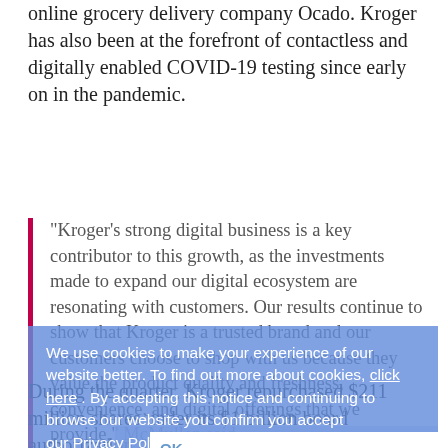online grocery delivery company Ocado. Kroger has also been at the forefront of contactless and digitally enabled COVID-19 testing since early on in the pandemic.
"Kroger's strong digital business is a key contributor to this growth, as the investments made to expand our digital ecosystem are resonating with customers. Our results continue to show that Kroger is a trusted brand and our customers choose to shop with us because they value the product quality and freshness, convenience, and digital offerings that we provide," McMullen said.
We use cookies to make your experience of our website better. To find out more about cookies, click here . By accepting this notice and continuing to browse our website you confirm you accept our Privacy Policy .
During the quarter, Kroger repurchased $211 million shares under its $1 billion board authorization announced on Nov. 5, 2019. On Sept. 11, the board of